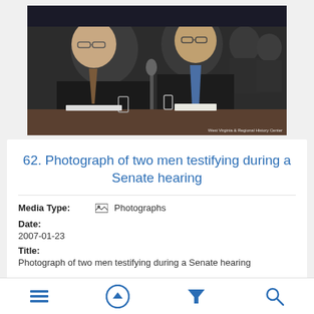[Figure (photo): Photograph of two men in dark suits seated at a table during a Senate hearing, with a microphone visible. Other people are visible in the background. Watermark reads 'West Virginia & Regional History Center'.]
62. Photograph of two men testifying during a Senate hearing
Media Type: Photographs
Date: 2007-01-23
Title: Photograph of two men testifying during a Senate hearing